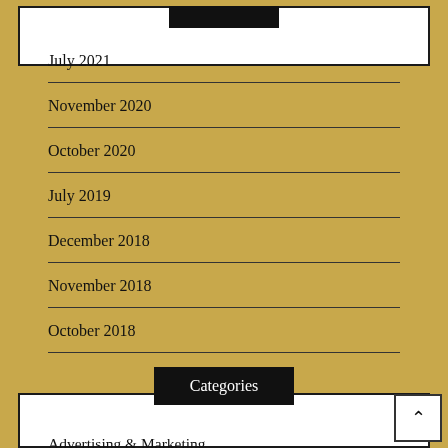July 2021
November 2020
October 2020
July 2019
December 2018
November 2018
October 2018
Categories
Advertising & Marketing
Arts & Entertainment